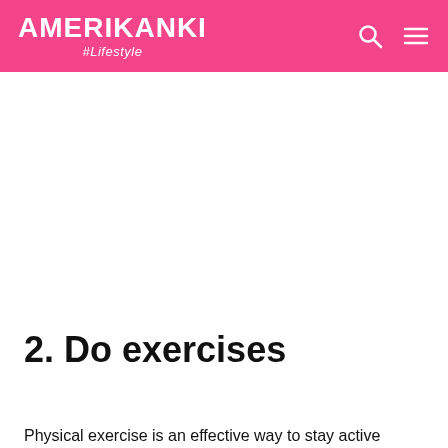AMERIKANKI #Lifestyle
2. Do exercises
Physical exercise is an effective way to stay active